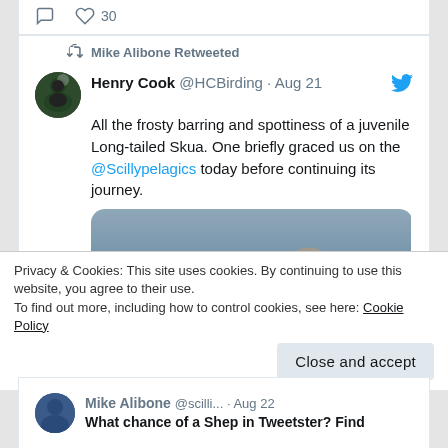[Figure (screenshot): Twitter/social media interface showing like and comment action icons with count '30']
Mike Alibone Retweeted
Henry Cook @HCBirding · Aug 21
All the frosty barring and spottiness of a juvenile Long-tailed Skua. One briefly graced us on the @Scillypelagics today before continuing its journey.
[Figure (photo): Photograph of a juvenile Long-tailed Skua in flight against a blue-grey water background, showing frosty barring and spottiness on its wings and body]
Privacy & Cookies: This site uses cookies. By continuing to use this website, you agree to their use.
To find out more, including how to control cookies, see here: Cookie Policy
Close and accept
Mike Alibone @scilli... · Aug 22
What chance of a Shep in Tweetster? Find